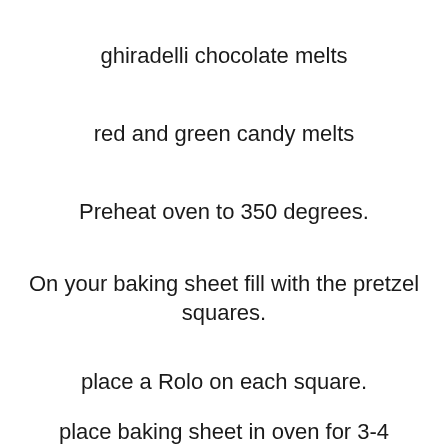ghiradelli chocolate melts
red and green candy melts
Preheat oven to 350 degrees.
On your baking sheet fill with the pretzel squares.
place a Rolo on each square.
place baking sheet in oven for 3-4 minutes.